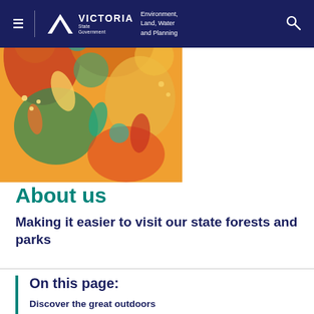Victoria State Government — Environment, Land, Water and Planning
[Figure (illustration): Colorful indigenous-style decorative artwork banner with patterns of leaves, shapes in orange, yellow, green, teal and red tones]
About us
Making it easier to visit our state forests and parks
On this page:
Discover the great outdoors
Our aim